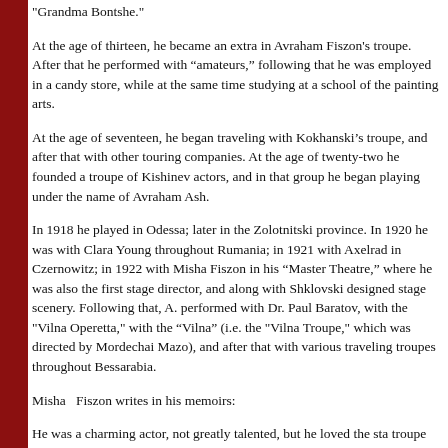"Grandma Bontshe."
At the age of thirteen, he became an extra in Avraham Fiszon's troupe. After that he performed with “amateurs,” following that he was employed in a candy store, while at the same time studying at a school of the painting arts.
At the age of seventeen, he began traveling with Kokhanski’s troupe, and after that with other touring companies. At the age of twenty-two he founded a troupe of Kishinev actors, and in that group he began playing under the name of Avraham Ash.
In 1918 he played in Odessa; later in the Zolotnitski province. In 1920 he was with Clara Young throughout Rumania; in 1921 with Axelrad in Czernowitz; in 1922 with Misha Fiszon in his “Master Theatre,” where he was also the first stage director, and along with Shklovski designed stage scenery. Following that, A. performed with Dr. Paul Baratov, with the "Vilna Operetta," with the “Vilna” (i.e. the "Vilna Troupe," which was directed by Mordechai Mazo), and after that with various traveling troupes throughout Bessarabia.
Misha  Fiszon writes in his memoirs:
He was a charming actor, not greatly talented, but he loved the sta troupe (in Romania) he worked as an associate director; worked li